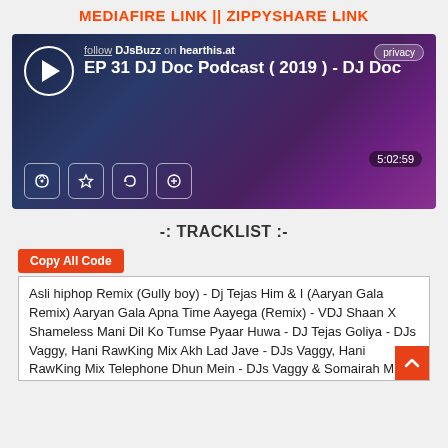MEDIAFIRE LINK || ZIPPYSHARE LINK
[Figure (screenshot): Hearthis.at embedded audio player for 'EP 31 DJ Doc Podcast ( 2019 ) - DJ Doc' by DJsBuzz. Shows play button, track title, privacy badge, duration 5:02:59, and share/like/repeat/download control buttons.]
-: TRACKLIST :-
Copy All Code
Asli hiphop Remix (Gully boy) - Dj Tejas Him & I (Aaryan Gala Remix) Aaryan Gala Apna Time Aayega (Remix) - VDJ Shaan X Shameless Mani Dil Ko Tumse Pyaar Huwa - DJ Tejas Goliya - DJs Vaggy, Hani RawKing Mix Akh Lad Jave - DJs Vaggy, Hani RawKing Mix Telephone Dhun Mein - DJs Vaggy & Somairah Mix Husn Parcham ( Zero ) - DJ Doc Downtempo Remix Tere Te - DJ Vaggy DJ A4K Remix Dilbar Vs Bala - DJ Akhil Talreja Remix Makhna (Remix) - Yo Yo Honey Singh - DJ Shadow Dubai Bom